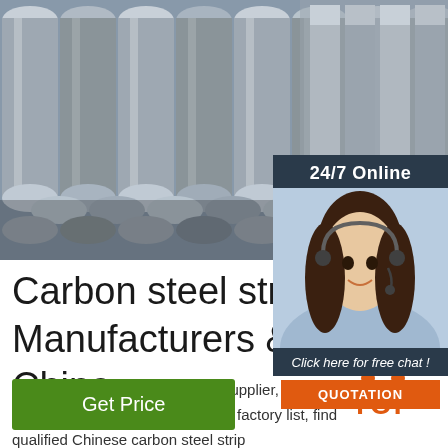[Figure (photo): Stacked steel rods/bars in a bundle, metallic silver/grey color, industrial setting]
[Figure (infographic): 24/7 Online chat widget with woman wearing headset, 'Click here for free chat!' text and orange QUOTATION button]
Carbon steel strip Manufacturers & Suppliers China
carbon steel strip manufacturer/supplier, carbon steel strip manufacturer & factory list, find qualified Chinese carbon steel strip manufacturers, suppliers, factories, ...
[Figure (other): Get Price green button]
[Figure (logo): TOP logo with orange dots arranged in triangle and orange TOP text]